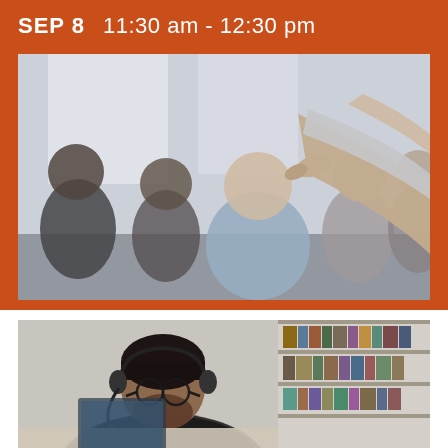SEP 8   11:30 am - 12:30 pm
[Figure (photo): A presenter pointing at an audience seated in chairs during a seminar or workshop. Multiple attendees are visible, out of focus, with a hand and arm of the presenter visible in the foreground on the right side.]
[Figure (photo): A man with glasses and a headset sits at a desk with a laptop, with bookshelves visible in the background, appearing to be in an online meeting or virtual session.]